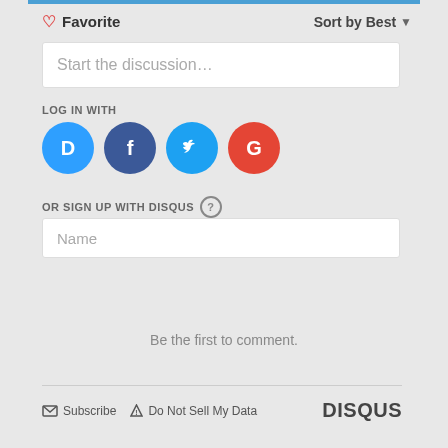Favorite
Sort by Best
Start the discussion…
LOG IN WITH
[Figure (logo): Social login icons: Disqus (blue circle with D), Facebook (dark blue circle with f), Twitter (light blue circle with bird), Google (red circle with G)]
OR SIGN UP WITH DISQUS ?
Name
Be the first to comment.
Subscribe  Do Not Sell My Data  DISQUS